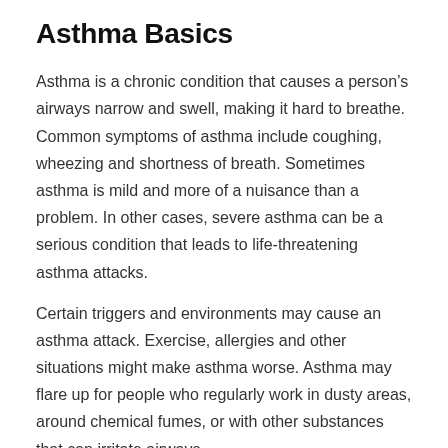Asthma Basics
Asthma is a chronic condition that causes a person’s airways narrow and swell, making it hard to breathe. Common symptoms of asthma include coughing, wheezing and shortness of breath. Sometimes asthma is mild and more of a nuisance than a problem. In other cases, severe asthma can be a serious condition that leads to life-threatening asthma attacks.
Certain triggers and environments may cause an asthma attack. Exercise, allergies and other situations might make asthma worse. Asthma may flare up for people who regularly work in dusty areas, around chemical fumes, or with other substances that can irritate airways.